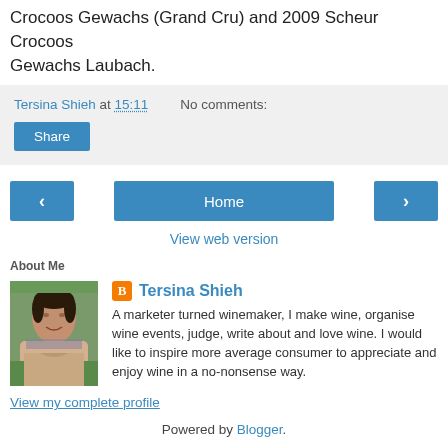Crocoos Gewachs (Grand Cru) and 2009 Scheur Crocoos Gewachs Laubach.
Tersina Shieh at 15:11    No comments:
Share
Home
View web version
About Me
Tersina Shieh
A marketer turned winemaker, I make wine, organise wine events, judge, write about and love wine. I would like to inspire more average consumer to appreciate and enjoy wine in a no-nonsense way.
View my complete profile
Powered by Blogger.